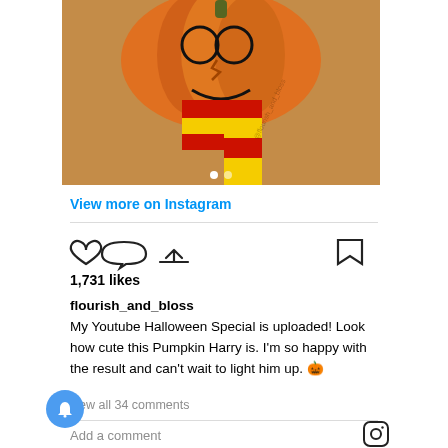[Figure (photo): A painted pumpkin resembling Harry Potter with glasses drawn on it and a red and yellow striped scarf (Gryffindor house colors) placed on a wooden table surface.]
View more on Instagram
1,731 likes
flourish_and_bloss
My Youtube Halloween Special is uploaded! Look how cute this Pumpkin Harry is. I'm so happy with the result and can't wait to light him up. 🎃
view all 34 comments
Add a comment